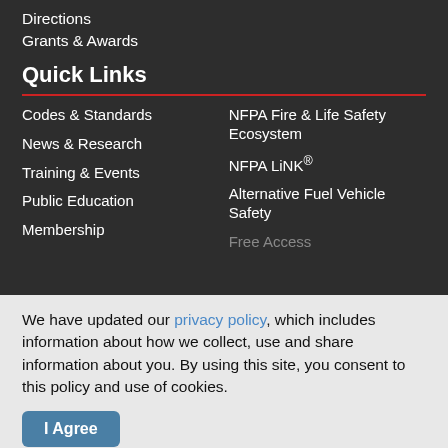Directions
Grants & Awards
Quick Links
Codes & Standards
News & Research
Training & Events
Public Education
Membership
NFPA Fire & Life Safety Ecosystem
NFPA LiNK®
Alternative Fuel Vehicle Safety
Free Access
We have updated our privacy policy, which includes information about how we collect, use and share information about you. By using this site, you consent to this policy and use of cookies.